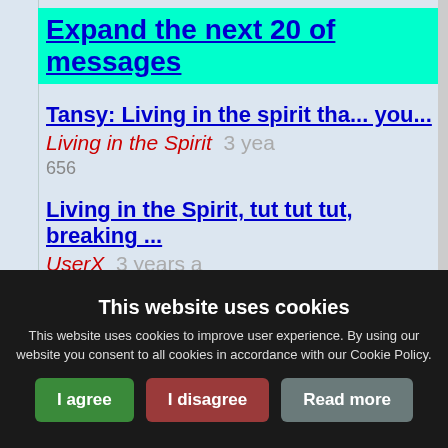Expand the next 20 of messages
Tansy: Living in the spirit tha... you... Living in the Spirit 3 yea... 656
Living in the Spirit, tut tut tut, breaking ... UserX 3 years a
Tansy: Living in the Spirit, tu... is br... Living in the Spirit 3 ye...
This website uses cookies
This website uses cookies to improve user experience. By using our website you consent to all cookies in accordance with our Cookie Policy.
I agree | I disagree | Read more